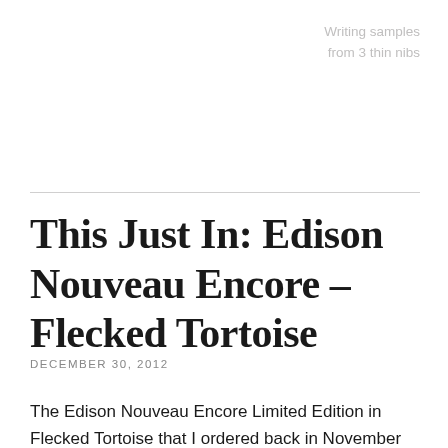Writing samples from 3 thin nibs
This Just In: Edison Nouveau Encore – Flecked Tortoise
DECEMBER 30, 2012
The Edison Nouveau Encore Limited Edition in Flecked Tortoise that I ordered back in November arrived on Saturday. This is one of the special editions that Goulet Pens has done